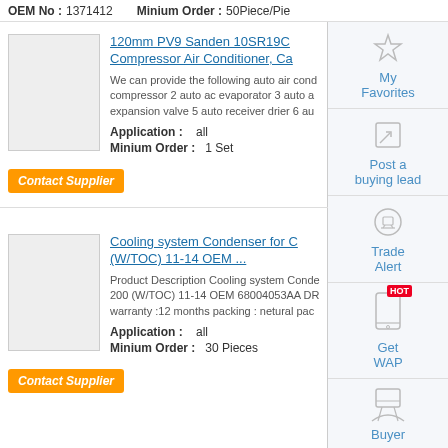OEM No: 1371412   Minium Order: 50Piece/Pie
[Figure (screenshot): Product listing page with sidebar showing My Favorites, Post a buying lead, Trade Alert, Get WAP, Buyer icons]
120mm PV9 Sanden 10SR19C Compressor Air Conditioner, Ca
We can provide the following auto air cond compressor 2 auto ac evaporator 3 auto a expansion valve 5 auto receiver drier 6 au
Application: all
Minium Order: 1 Set
Cooling system Condenser for C (W/TOC) 11-14 OEM ... 20
Product Description Cooling system Conde 200 (W/TOC) 11-14 OEM 68004053AA DR warranty :12 months packing : netural pac
Application: all
Minium Order: 30 Pieces